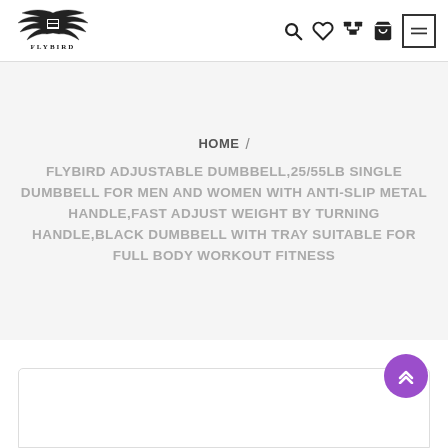[Figure (logo): Flybird brand logo with eagle wings and stylized text]
HOME / FLYBIRD ADJUSTABLE DUMBBELL,25/55LB SINGLE DUMBBELL FOR MEN AND WOMEN WITH ANTI-SLIP METAL HANDLE,FAST ADJUST WEIGHT BY TURNING HANDLE,BLACK DUMBBELL WITH TRAY SUITABLE FOR FULL BODY WORKOUT FITNESS